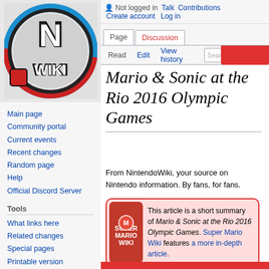[Figure (logo): NintendoWiki logo — large N with Wiki text, surrounded by red and blue rings on grey background]
Main page
Community portal
Current events
Recent changes
Random page
Help
Official Discord Server
Tools
What links here
Related changes
Special pages
Printable version
Permanent link
Not logged in  Talk  Contributions  Create account  Log in
Mario & Sonic at the Rio 2016 Olympic Games
From NintendoWiki, your source on Nintendo information. By fans, for fans.
This article is a short summary of Mario & Sonic at the Rio 2016 Olympic Games. Super Mario Wiki features a more in-depth article.